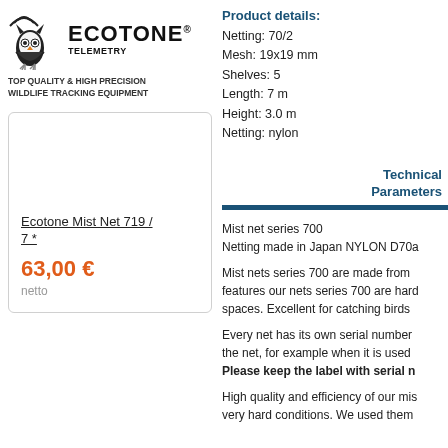[Figure (logo): Ecotone Telemetry owl logo with signal waves]
ECOTONE® TELEMETRY
TOP QUALITY & HIGH PRECISION WILDLIFE TRACKING EQUIPMENT
Ecotone Mist Net 719 / 7 *
63,00 €
netto
Product details:
Netting: 70/2
Mesh: 19x19 mm
Shelves: 5
Length: 7 m
Height: 3.0 m
Netting: nylon
Technical Parameters
Mist net series 700
Netting made in Japan NYLON D70a
Mist nets series 700 are made from features our nets series 700 are hard spaces. Excellent for catching birds
Every net has its own serial number the net, for example when it is used Please keep the label with serial n
High quality and efficiency of our mis very hard conditions. We used them